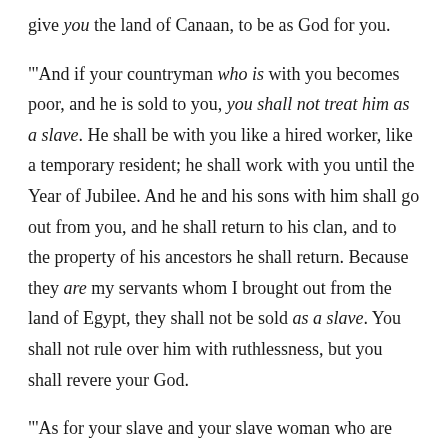give you the land of Canaan, to be as God for you.
"'And if your countryman who is with you becomes poor, and he is sold to you, you shall not treat him as a slave. He shall be with you like a hired worker, like a temporary resident; he shall work with you until the Year of Jubilee. And he and his sons with him shall go out from you, and he shall return to his clan, and to the property of his ancestors he shall return. Because they are my servants whom I brought out from the land of Egypt, they shall not be sold as a slave. You shall not rule over him with ruthlessness, but you shall revere your God.
"'As for your slave and your slave woman who are yours,